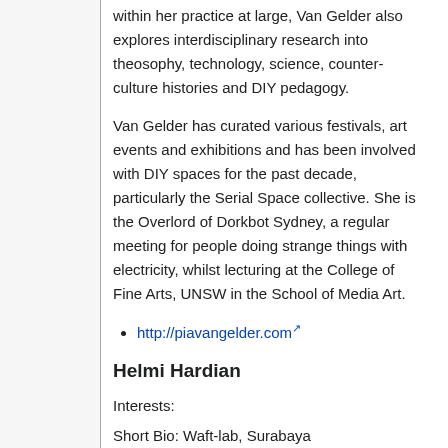within her practice at large, Van Gelder also explores interdisciplinary research into theosophy, technology, science, counter-culture histories and DIY pedagogy.
Van Gelder has curated various festivals, art events and exhibitions and has been involved with DIY spaces for the past decade, particularly the Serial Space collective. She is the Overlord of Dorkbot Sydney, a regular meeting for people doing strange things with electricity, whilst lecturing at the College of Fine Arts, UNSW in the School of Media Art.
http://piavangelder.com
Helmi Hardian
Interests:
Short Bio: Waft-lab, Surabaya